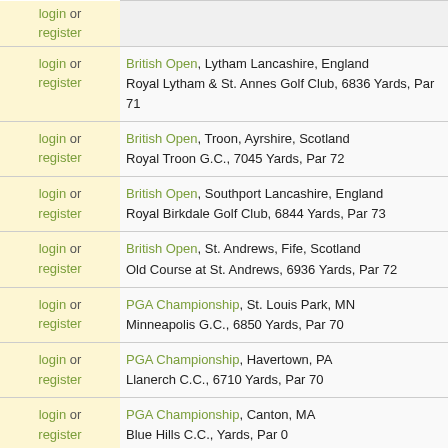| Login | Tournament Info |
| --- | --- |
| login or register | British Open, Lytham Lancashire, England
Royal Lytham & St. Annes Golf Club, 6836 Yards, Par 71 |
| login or register | British Open, Troon, Ayrshire, Scotland
Royal Troon G.C., 7045 Yards, Par 72 |
| login or register | British Open, Southport Lancashire, England
Royal Birkdale Golf Club, 6844 Yards, Par 73 |
| login or register | British Open, St. Andrews, Fife, Scotland
Old Course at St. Andrews, 6936 Yards, Par 72 |
| login or register | PGA Championship, St. Louis Park, MN
Minneapolis G.C., 6850 Yards, Par 70 |
| login or register | PGA Championship, Havertown, PA
Llanerch C.C., 6710 Yards, Par 70 |
| login or register | PGA Championship, Canton, MA
Blue Hills C.C., Yards, Par 0
1st round - Beat Ralph W. Dillow 3-2
2nd round - Lost to Ed Furgol 5-4 |
| login or register | U.S. Open, Rochester, NY
Oak Hill C.C., 6902 Yards, Par 70 |
| login or register | U.S. Open, San Francisco, CA
The Olympic Club (Lake Course), 6727 Yards, Par 70 |